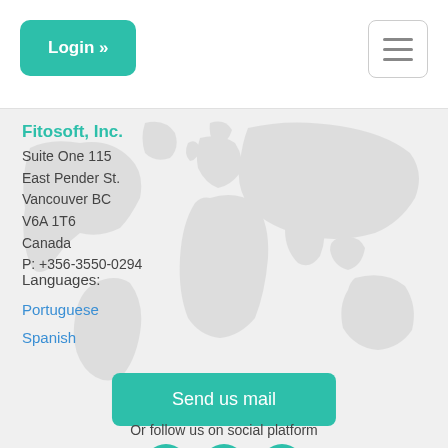Login »
Fitosoft, Inc.
Suite One 115
East Pender St.
Vancouver BC
V6A 1T6
Canada
P: +356-3550-0294
Languages:
Portuguese
Spanish
Send us mail
Or follow us on social platform